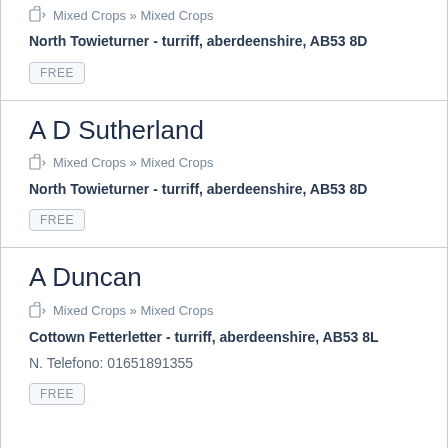Mixed Crops » Mixed Crops
North Towieturner - turriff, aberdeenshire, AB53 8D
FREE
A D Sutherland
Mixed Crops » Mixed Crops
North Towieturner - turriff, aberdeenshire, AB53 8D
FREE
A Duncan
Mixed Crops » Mixed Crops
Cottown Fetterletter - turriff, aberdeenshire, AB53 8L
N. Telefono: 01651891355
FREE